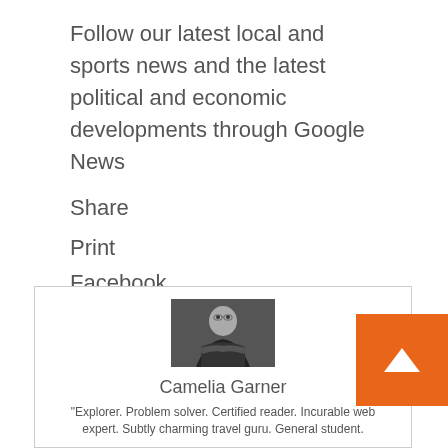Follow our latest local and sports news and the latest political and economic developments through Google News
Share
Print
Facebook
Twitter
LinkedIn
Then interest
Share
[Figure (photo): Portrait photo of Camelia Garner, a woman with glasses wearing a black outfit, arms crossed, against a dark background]
Camelia Garner
"Explorer. Problem solver. Certified reader. Incurable web expert. Subtly charming travel guru. General student.